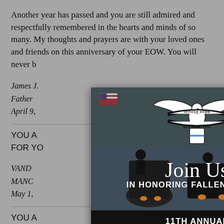Another year has passed and you are still admired and respectfully remembered in the hearts and minds of so many. My thoughts and prayers are with your loved ones and friends on this anniversary of your EOW. You will never b…
James J.
Father
April 9,…
YOU A… OU SIR FOR YO…
VAND…
MANC…
May 1,…
YOU A… OU SIR FOR YOUR SERVICE
Pat Van Den Berghe
MANCHESTER, NH
April 9, 2022…
[Figure (infographic): Modal popup for 11th Annual Officer Down Memorial Ride on September 24, 2022. Features an eagle logo with 'Officer Down Memorial Ride' text, 'Join Us In Honoring Fallen Heroes' message, and a red 'Register Now' button.]